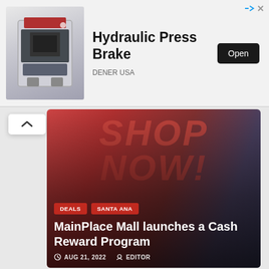[Figure (infographic): Advertisement banner for Hydraulic Press Brake by DENER USA with product image on left, title in center, and Open button on right]
Hydraulic Press Brake
DENER USA
[Figure (photo): Article card: MainPlace Mall launches a Cash Reward Program — red/pink promotional banner with SHOP NOW text and woman in yellow dress]
DEALS
SANTA ANA
MainPlace Mall launches a Cash Reward Program
AUG 21, 2022   EDITOR
[Figure (photo): Article card: Only one woman is running for Santa Ana Mayor in — dark background with person's face partially visible]
2022 ELECTIONS
ELECTIONS
JESSE NESTOR
JOSE SOLORIO
POLITICS
SAL TINAJERO
SANTA ANA
VALERIE AMEZCUA
Only one woman is running for Santa Ana Mayor in